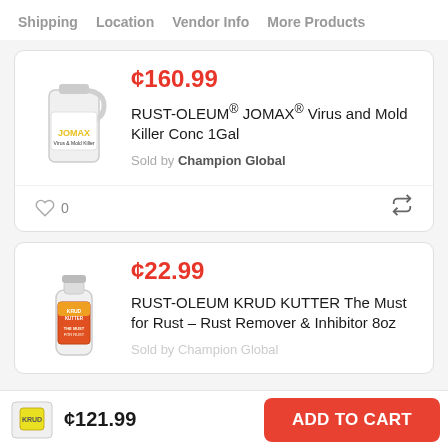Shipping  Location  Vendor Info  More Products
¢160.99
RUST-OLEUM® JOMAX® Virus and Mold Killer Conc 1Gal
Sold by Champion Global
0
¢22.99
RUST-OLEUM KRUD KUTTER The Must for Rust – Rust Remover & Inhibitor 8oz
Sold by Champion Global
¢121.99
ADD TO CART